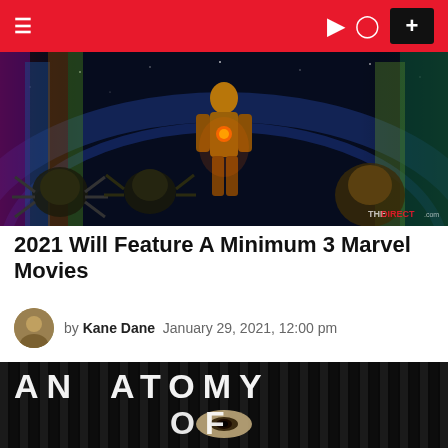Navigation bar with menu, theme toggle, user icon, and plus button
[Figure (photo): Marvel characters panorama with a golden robot/suit figure in the center against a dark space background, various alien/superhero figures on the sides. thedirect.com watermark visible.]
2021 Will Feature A Minimum 3 Marvel Movies
by Kane Dane  January 29, 2021, 12:00 pm
[Figure (photo): Dark image with large white text reading 'ANATOMY OF' partially visible, with a person's eyes visible between vertical slats/blinds.]